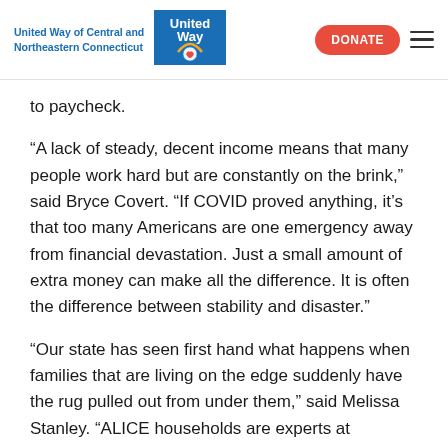United Way of Central and Northeastern Connecticut
to paycheck.
“A lack of steady, decent income means that many people work hard but are constantly on the brink,” said Bryce Covert. “If COVID proved anything, it’s that too many Americans are one emergency away from financial devastation. Just a small amount of extra money can make all the difference. It is often the difference between stability and disaster.”
“Our state has seen first hand what happens when families that are living on the edge suddenly have the rug pulled out from under them,” said Melissa Stanley. “ALICE households are experts at managing their households budgets and finding creative ways, like I